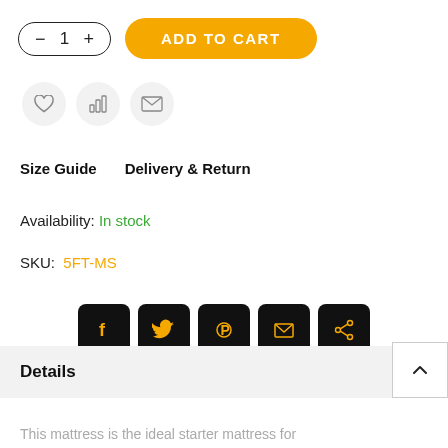[Figure (screenshot): Quantity selector with minus and plus buttons showing count of 1, and an orange Add to Cart button]
[Figure (infographic): Three circular icon buttons: heart (wishlist), bar chart (compare), envelope (email)]
Size Guide    Delivery & Return
Availability: In stock
SKU:  5FT-MS
[Figure (infographic): Five black rounded square social sharing icons: Facebook, Twitter, Pinterest, Email, Share]
Details
This mattress is the ideal starter mattress for